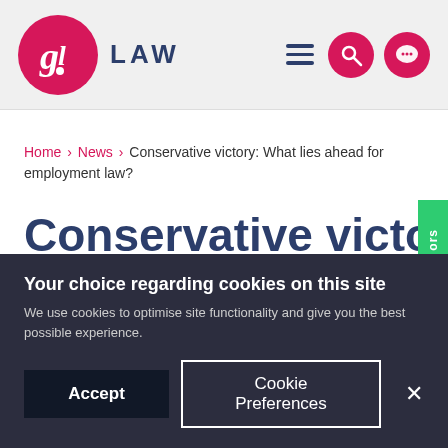GL LAW
Home > News > Conservative victory: What lies ahead for employment law?
Conservative victory:
Your choice regarding cookies on this site
We use cookies to optimise site functionality and give you the best possible experience.
Accept | Cookie Preferences | ×